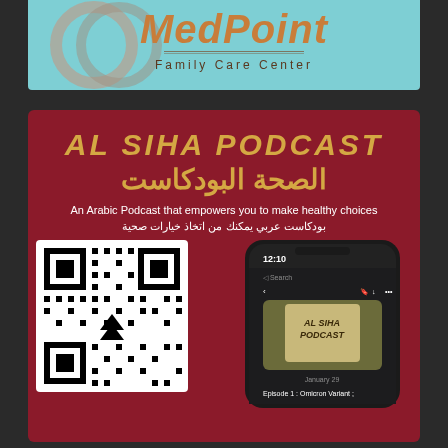[Figure (logo): MedPoint Family Care Center logo on teal/cyan background with stethoscope rings]
[Figure (infographic): Al Siha Podcast promotional card on dark red background. Shows 'AL SIHA PODCAST' in gold English and Arabic text, subtitle in English and Arabic about Arabic health podcast, a QR code on the left, and a smartphone showing the podcast app on the right.]